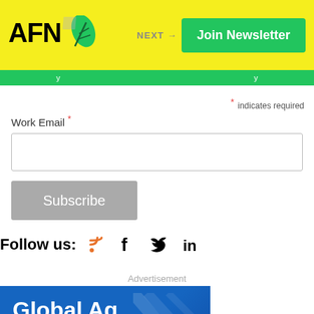AFN — Join Newsletter — NEXT →
* indicates required
Work Email *
Subscribe
Follow us:
Advertisement
[Figure (illustration): Advertisement banner with blue gradient background and text: Global Ag Startup? Find success]